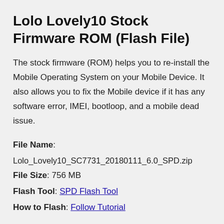Lolo Lovely10 Stock Firmware ROM (Flash File)
The stock firmware (ROM) helps you to re-install the Mobile Operating System on your Mobile Device. It also allows you to fix the Mobile device if it has any software error, IMEI, bootloop, and a mobile dead issue.
File Name: Lolo_Lovely10_SC7731_20180111_6.0_SPD.zip
File Size: 756 MB
Flash Tool: SPD Flash Tool
How to Flash: Follow Tutorial